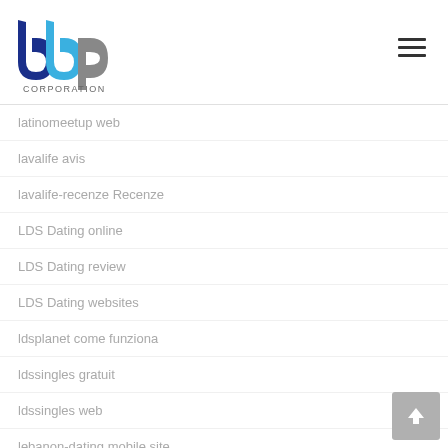[Figure (logo): BBP Corporation logo with stylized blue and grey letters and CORPORATION text below]
latinomeetup web
lavalife avis
lavalife-recenze Recenze
LDS Dating online
LDS Dating review
LDS Dating websites
ldsplanet come funziona
ldssingles gratuit
ldssingles web
lebanon-dating mobile site